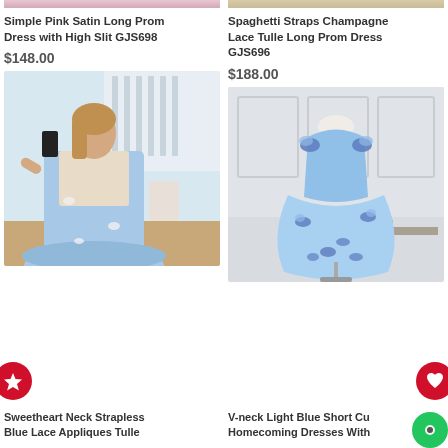[Figure (photo): Top portion of a pink satin long prom dress (cropped)]
Simple Pink Satin Long Prom Dress with High Slit GJS698
$148.00
[Figure (photo): Woman wearing a light blue sweetheart neck strapless tulle dress with lace appliques, taking a mirror selfie in a bridal shop]
Sweetheart Neck Strapless Blue Lace Appliques Tulle
[Figure (photo): Top portion of a champagne lace tulle long prom dress on a mannequin (cropped)]
Spaghetti Straps Champagne Lace Tulle Long Prom Dress GJS696
$188.00
[Figure (photo): Light blue short cupcake homecoming dress with butterfly floral appliques on a dress form mannequin]
V-neck Light Blue Short Cu Homecoming Dresses With